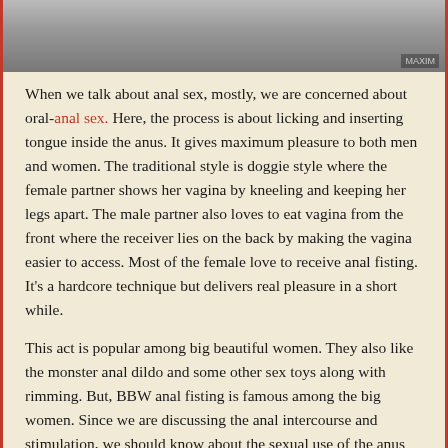[Figure (photo): Black and white photo of a couple in an intimate pose on a bed, partially visible at top of page]
When we talk about anal sex, mostly, we are concerned about oral-anal sex. Here, the process is about licking and inserting tongue inside the anus. It gives maximum pleasure to both men and women. The traditional style is doggie style where the female partner shows her vagina by kneeling and keeping her legs apart. The male partner also loves to eat vagina from the front where the receiver lies on the back by making the vagina easier to access. Most of the female love to receive anal fisting. It’s a hardcore technique but delivers real pleasure in a short while.
This act is popular among big beautiful women. They also like the monster anal dildo and some other sex toys along with rimming. But, BBW anal fisting is famous among the big women. Since we are discussing the anal intercourse and stimulation, we should know about the sexual use of the anus and the effective...